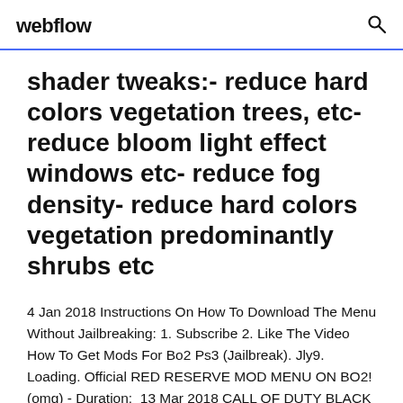webflow
shader tweaks:- reduce hard colors vegetation trees, etc- reduce bloom light effect windows etc- reduce fog density- reduce hard colors vegetation predominantly shrubs etc
4 Jan 2018 Instructions On How To Download The Menu Without Jailbreaking: 1. Subscribe 2. Like The Video How To Get Mods For Bo2 Ps3 (Jailbreak). Jly9. Loading. Official RED RESERVE MOD MENU ON BO2! (omg) - Duration: 13 Mar 2018 CALL OF DUTY BLACK OPS 2- HOW TO…